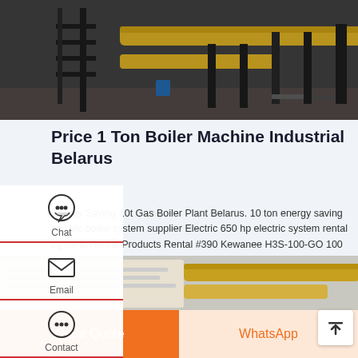[Figure (photo): Industrial boiler/pipe machinery in a workshop setting, with yellow pipes and dark metal framework]
Price 1 Ton Boiler Machine Industrial Belarus
Energy Saving 10t Gas Boiler Plant Belarus. 10 ton energy saving electric boiler system supplier Electric 650 hp electric system rental zg Kefid·Rental Products Rental #390 Kewanee H3S-100-GO 100 hp 100 psi steam with dual fuel natural /#2 fuel oil #340 Cleaver Brooks 655-100 100 HP 125 lb hot water with oil only burner #345 Emerson. Read More